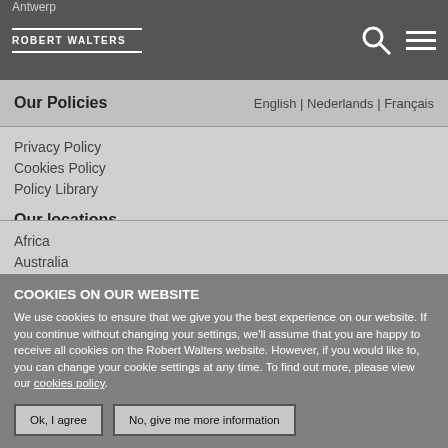Antwerp
[Figure (logo): Robert Walters logo with horizontal lines above and below the text]
Our Policies
English | Nederlands | Français
Privacy Policy
Cookies Policy
Policy Library
Our locations
Africa
Australia
COOKIES ON OUR WEBSITE
We use cookies to ensure that we give you the best experience on our website. If you continue without changing your settings, we'll assume that you are happy to receive all cookies on the Robert Walters website. However, if you would like to, you can change your cookie settings at any time. To find out more, please view our cookies policy.
Ok, I agree | No, give me more information